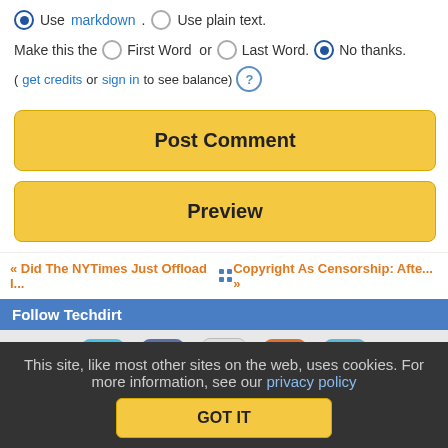Use markdown. Use plain text.
Make this the  First Word  or  Last Word.  No thanks.
(get credits or sign in to see balance) ?
Post Comment
Preview
« Did The NYTimes Just Offload I...  ::  Copyright As Censorship: Afte... »
Follow Techdirt
This site, like most other sites on the web, uses cookies. For more information, see our privacy policy
GOT IT